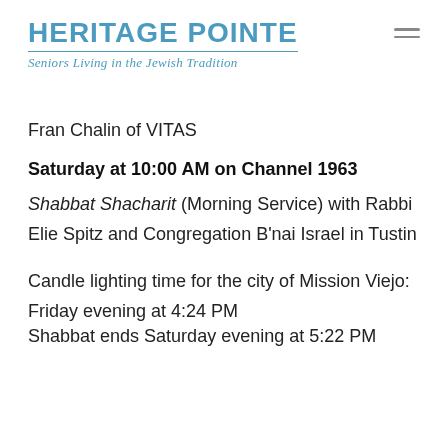HERITAGE POINTE
Seniors Living in the Jewish Tradition
Fran Chalin of VITAS
Saturday at 10:00 AM on Channel 1963
Shabbat Shacharit (Morning Service) with Rabbi Elie Spitz and Congregation B'nai Israel in Tustin
Candle lighting time for the city of Mission Viejo:
Friday evening at 4:24 PM
Shabbat ends Saturday evening at 5:22 PM